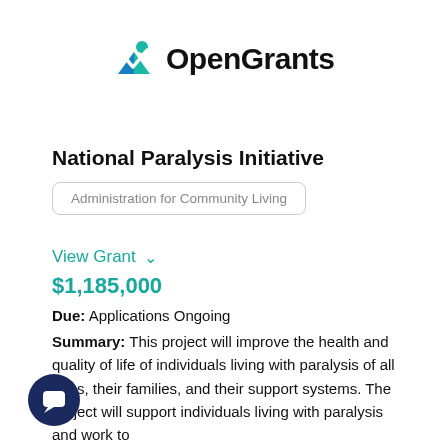[Figure (logo): OpenGrants logo — a teal/blue checkmark-like icon followed by bold text 'OpenGrants']
National Paralysis Initiative
Administration for Community Living
View Grant
$1,185,000
Due: Applications Ongoing
Summary: This project will improve the health and quality of life of individuals living with paralysis of all ages, their families, and their support systems. The project will support individuals living with paralysis and work to